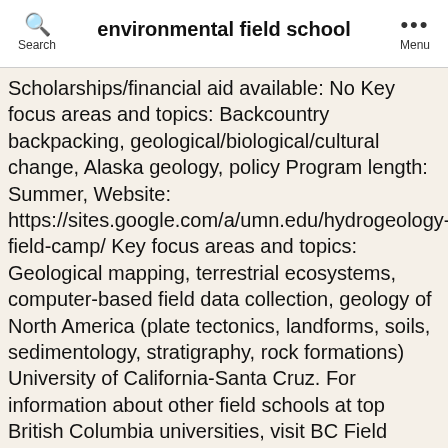environmental field school
Scholarships/financial aid available: No Key focus areas and topics: Backcountry backpacking, geological/biological/cultural change, Alaska geology, policy Program length: Summer, Website: https://sites.google.com/a/umn.edu/hydrogeology-field-camp/ Key focus areas and topics: Geological mapping, terrestrial ecosystems, computer-based field data collection, geology of North America (plate tectonics, landforms, soils, sedimentology, stratigraphy, rock formations) University of California-Santa Cruz. For information about other field schools at top British Columbia universities, visit BC Field Schools: Biology and Environmental Studies. Location(s): Australia, Banff, Belize, Big Sur, Botswana, Channel Islands, Chile, Equador, Iceland, Indian Himalaya, Nepal, New Zealand, Peru, South Africa, Taiwan, Thailand, Yellowstone Explore perspectives from several disciplines in order to approach and better understand complex, contemporary issues of our rapidly changing environment. Location(s): Akeley,